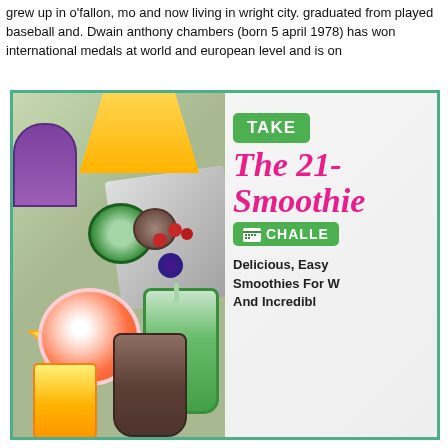grew up in o'fallon, mo and now living in wright city. graduated from played baseball and. Dwain anthony chambers (born 5 april 1978) has won international medals at world and european level and is on
[Figure (infographic): Smoothie challenge infographic with colorful fruits and smoothie bottles on the left side and text on the right side reading: TAKE [the] The 21- Smoothie CHALLENGE with subtitle Delicious, Easy Smoothies For W And Incredibl]